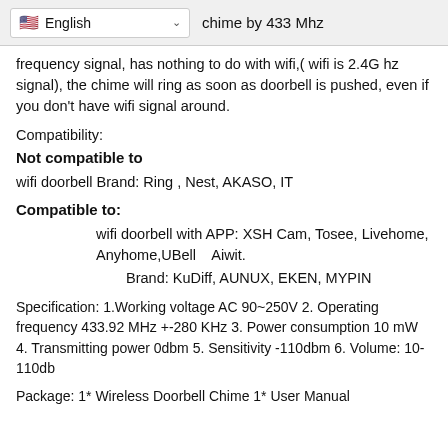English | chime by 433 Mhz
frequency signal, has nothing to do with wifi,( wifi is 2.4G hz signal), the chime will ring as soon as doorbell is pushed, even if you don't have wifi signal around.
Compatibility:
Not compatible to
wifi doorbell Brand: Ring , Nest, AKASO, IT
Compatible to:
wifi doorbell with APP: XSH Cam, Tosee, Livehome, Anyhome,UBell   Aiwit.
Brand: KuDiff, AUNUX, EKEN, MYPIN
Specification: 1.Working voltage AC 90~250V 2. Operating frequency 433.92 MHz +-280 KHz 3. Power consumption 10 mW 4. Transmitting power 0dbm 5. Sensitivity -110dbm 6. Volume: 10-110db
Package: 1* Wireless Doorbell Chime 1* User Manual